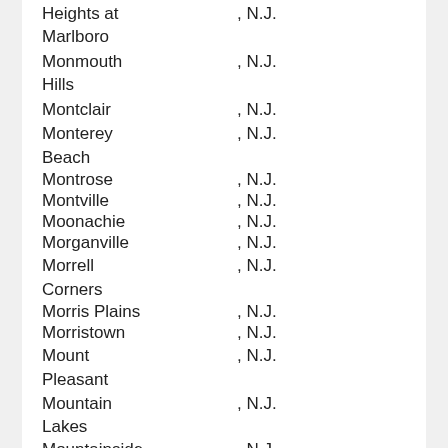Heights at     , N.J.
Marlboro
Monmouth Hills     , N.J.
Montclair     , N.J.
Monterey Beach     , N.J.
Montrose     , N.J.
Montville     , N.J.
Moonachie     , N.J.
Morganville     , N.J.
Morrell Corners     , N.J.
Morris Plains     , N.J.
Morristown     , N.J.
Mount Pleasant     , N.J.
Mountain Lakes     , N.J.
Mountainside     , N.J.
Munion Field     , N.J.
Murray Grove     , N.J.
Mystic Island     , N.J.
Natco     , N.J.